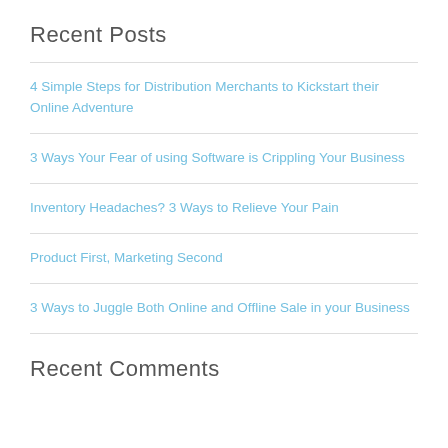Recent Posts
4 Simple Steps for Distribution Merchants to Kickstart their Online Adventure
3 Ways Your Fear of using Software is Crippling Your Business
Inventory Headaches? 3 Ways to Relieve Your Pain
Product First, Marketing Second
3 Ways to Juggle Both Online and Offline Sale in your Business
Recent Comments